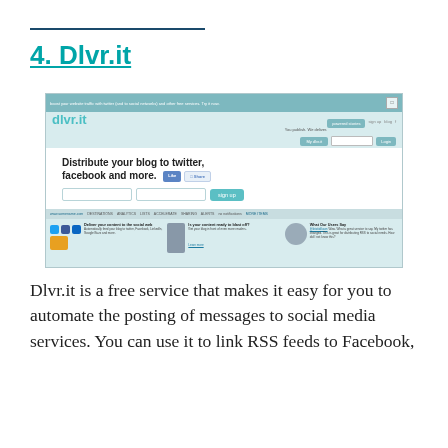4. Dlvr.it
[Figure (screenshot): Screenshot of the Dlvr.it website homepage showing the tagline 'Distribute your blog to twitter, facebook and more.' with a sign up form and three feature columns.]
Dlvr.it is a free service that makes it easy for you to automate the posting of messages to social media services. You can use it to link RSS feeds to Facebook,